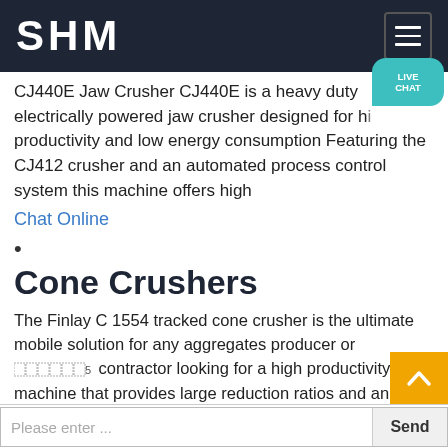SHM
CJ440E Jaw Crusher CJ440E is a heavy duty electrically powered jaw crusher designed for high productivity and low energy consumption Featuring the CJ412 crusher and an automated process control system this machine offers high
Chat Online
Cone Crushers
The Finlay C 1554 tracked cone crusher is the ultimate mobile solution for any aggregates producer or contractor looking for a high productivity machine that provides large reduction ratios and an excellent cubical shaped end product The robust design of the plant enables it to accept an all in feed and maximize hard abrasive